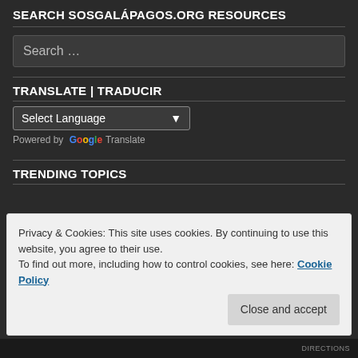SEARCH SOSGALÁPAGOS.ORG RESOURCES
Search …
TRANSLATE | TRADUCIR
Select Language
Powered by Google Translate
TRENDING TOPICS
Privacy & Cookies: This site uses cookies. By continuing to use this website, you agree to their use.
To find out more, including how to control cookies, see here: Cookie Policy
Close and accept